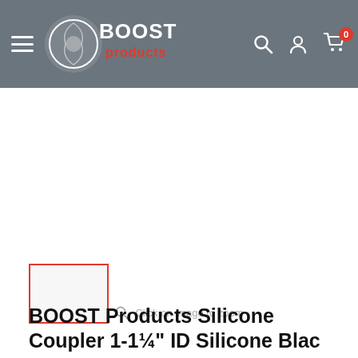BOOST Products
[Figure (screenshot): Product image area showing zoom hint: Click on image to zoom]
[Figure (photo): Small product thumbnail with red border]
BOOST Products Silicone Coupler 1-1/4" ID Silicone Black